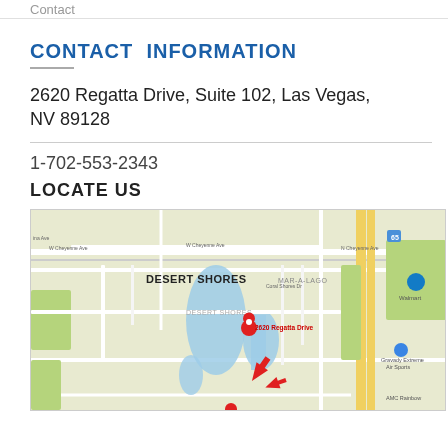Contact
CONTACT INFORMATION
2620 Regatta Drive, Suite 102, Las Vegas, NV 89128
1-702-553-2343
LOCATE US
[Figure (map): Google Maps view of Desert Shores neighborhood in Las Vegas, NV showing a red location pin at 2620 Regatta Drive with a large red arrow pointing to the location. Neighborhood labels include DESERT SHORES and MAR-A-LAGO. Nearby landmarks include Walmart and Gravady Extreme Air Sports.]